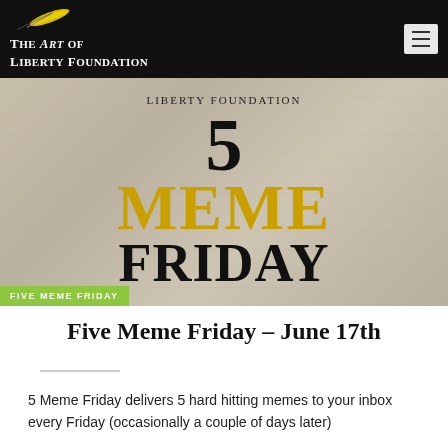The Art of Liberty Foundation
[Figure (illustration): Hero image with parchment/stone texture background showing '5 MEME FRIDAY' text with 'LIBERTY FOUNDATION' above it. The number 5 is large and black, MEME is in gold/yellow, FRIDAY is in large black text. A green label at bottom-left reads 'FIVE MEME FRIDAY'.]
Five Meme Friday – June 17th
5 Meme Friday delivers 5 hard hitting memes to your inbox every Friday (occasionally a couple of days later)